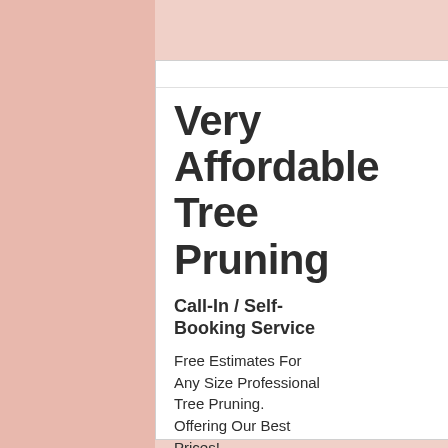[Figure (screenshot): Web page screenshot showing an advertisement for tree pruning services on the left and an article with images on the right. Left side has a pink/salmon background. Center shows a white ad box with title 'Very Affordable Tree Pruning', subtitle 'Call-In / Self-Booking Service', body text about free estimates, and URL garciastreeexperts.com. Right side shows partial article text and images.]
Very Affordable Tree Pruning
Call-In / Self-Booking Service
Free Estimates For Any Size Professional Tree Pruning. Offering Our Best Prices!
garciastreeexperts.com
This is something it out yet, the bes usually do it the Otherwise the pe easily making a b dispose of them